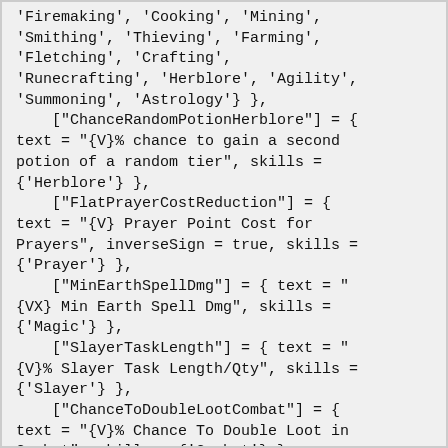'Firemaking', 'Cooking', 'Mining',
'Smithing', 'Thieving', 'Farming',
'Fletching', 'Crafting',
'Runecrafting', 'Herblore', 'Agility',
'Summoning', 'Astrology'} },
    ["ChanceRandomPotionHerblore"] = {
text = "{V}% chance to gain a second
potion of a random tier", skills =
{'Herblore'} },
    ["FlatPrayerCostReduction"] = {
text = "{V} Prayer Point Cost for
Prayers", inverseSign = true, skills =
{'Prayer'} },
    ["MinEarthSpellDmg"] = { text = "
{VX} Min Earth Spell Dmg", skills =
{'Magic'} },
    ["SlayerTaskLength"] = { text = "
{V}% Slayer Task Length/Qty", skills =
{'Slayer'} },
    ["ChanceToDoubleLootCombat"] = {
text = "{V}% Chance To Double Loot in
Combat", skills = {'Combat'} },